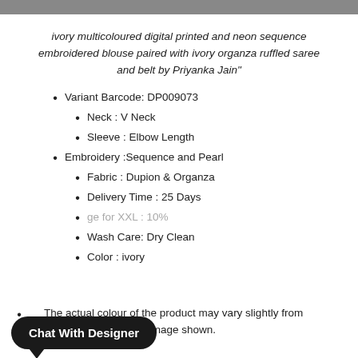ivory multicoloured digital printed and neon sequence embroidered blouse paired with ivory organza ruffled saree and belt by Priyanka Jain"
Variant Barcode: DP009073
Neck : V Neck
Sleeve : Elbow Length
Embroidery :Sequence and Pearl
Fabric : Dupion & Organza
Delivery Time : 25 Days
...ge for XXL : 10%
Wash Care: Dry Clean
Color : ivory
The actual colour of the product may vary slightly from the image shown.
[Figure (other): Chat With Designer button (black pill-shaped) and WhatsApp icon (green rounded square)]